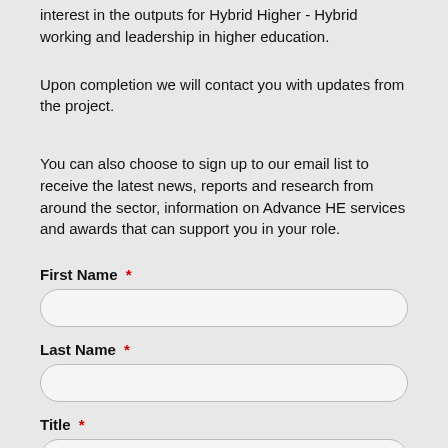interest in the outputs for Hybrid Higher - Hybrid working and leadership in higher education.
Upon completion we will contact you with updates from the project.
You can also choose to sign up to our email list to receive the latest news, reports and research from around the sector, information on Advance HE services and awards that can support you in your role.
First Name *
Last Name *
Title *